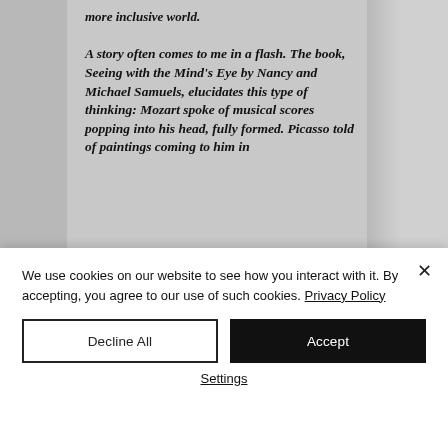[Figure (photo): A grayscale image of a misty forest background with pine trees visible on the right. Overlaid on the left-center is a book page showing italic bold text: 'more inclusive world.' and 'A story often comes to me in a flash. The book, Seeing with the Mind's Eye by Nancy and Michael Samuels, elucidates this type of thinking: Mozart spoke of musical scores popping into his head, fully formed. Picasso told of paintings coming to him in']
We use cookies on our website to see how you interact with it. By accepting, you agree to our use of such cookies. Privacy Policy
Decline All
Accept
Settings